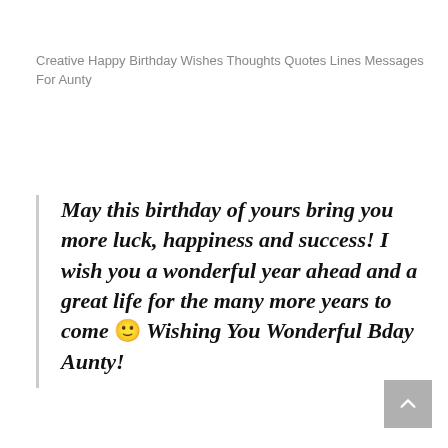Creative Happy Birthday Wishes Thoughts Quotes Lines Messages For Aunty
May this birthday of yours bring you more luck, happiness and success! I wish you a wonderful year ahead and a great life for the many more years to come 🙂 Wishing You Wonderful Bday Aunty!